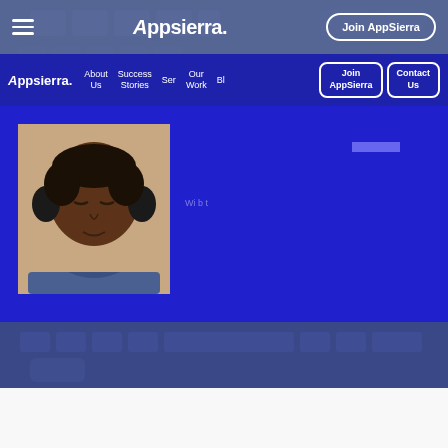Appsierra. — Join AppSierra
[Figure (screenshot): AppSierra website screenshot showing navigation bar with logo, menu items (About Us, Success Stories, Services, Our Work, Blog), and buttons (Join AppSierra, Contact Us). Below is a dark blue hero section with a photo of a man wearing headphones, and a blue accent bar. Background shows a keyboard texture.]
Appsierra. About Us  Success Stories  Ser  Our Work  Bl  Join AppSierra  Contact Us